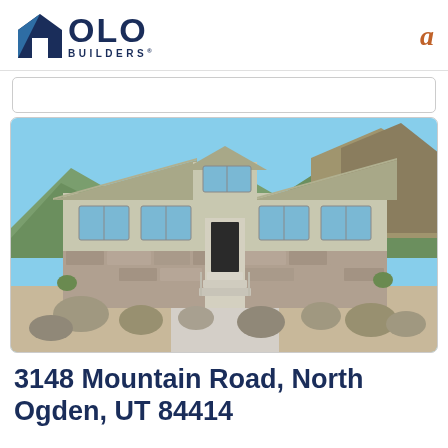[Figure (logo): OLO Builders logo with dark blue pentagon/house icon and company name]
a
[Figure (photo): Exterior photo of a ranch-style craftsman home with stone and siding facade, mountains in background, rocks in foreground landscaping]
3148 Mountain Road, North Ogden, UT 84414